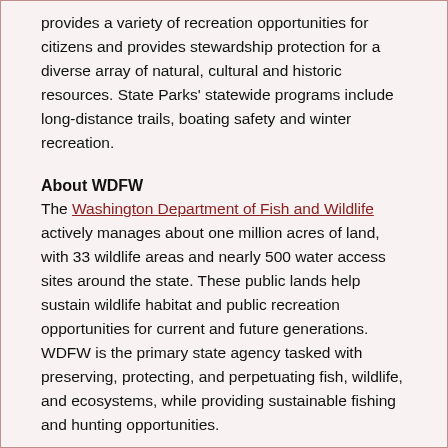provides a variety of recreation opportunities for citizens and provides stewardship protection for a diverse array of natural, cultural and historic resources. State Parks' statewide programs include long-distance trails, boating safety and winter recreation.
About WDFW
The Washington Department of Fish and Wildlife actively manages about one million acres of land, with 33 wildlife areas and nearly 500 water access sites around the state. These public lands help sustain wildlife habitat and public recreation opportunities for current and future generations. WDFW is the primary state agency tasked with preserving, protecting, and perpetuating fish, wildlife, and ecosystems, while providing sustainable fishing and hunting opportunities.
News release number: 20-019